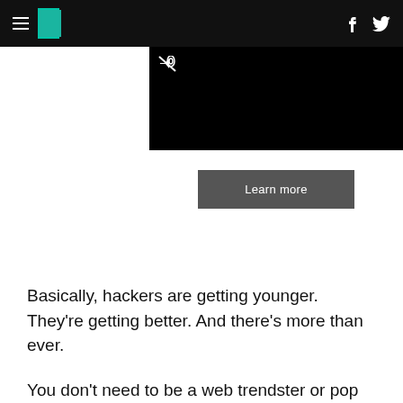HuffPost navigation with hamburger menu, logo, Facebook and Twitter icons
[Figure (screenshot): Ad unit with black video area showing mute icon, and white lower section with 'Learn more' button]
Basically, hackers are getting younger. They're getting better. And there's more than ever.
You don't need to be a web trendster or pop culture vulture to recognise we're on the cusp of a new age; a fresh wave of inquisitive HTML meddlers. Never mind Generation X. Forget Generation Y.